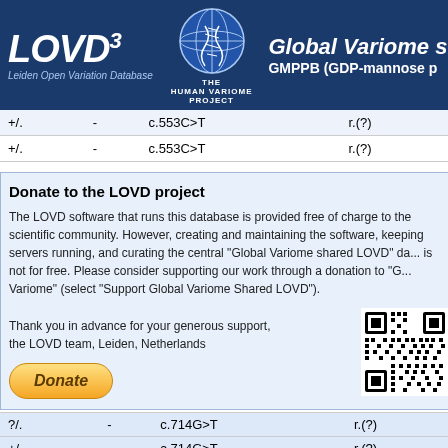LOVD3 - Leiden Open Variation Database | Global Variome shared LOVD | GMPPB (GDP-mannose p...)
|  |  | DNA | RNA |
| --- | --- | --- | --- |
| +/. | - | c.553C>T | r.(?) |
| +/. | - | c.553C>T | r.(?) |
Donate to the LOVD project
The LOVD software that runs this database is provided free of charge to the scientific community. However, creating and maintaining the software, keeping servers running, and curating the central "Global Variome shared LOVD" da... is not for free. Please consider supporting our work through a donation to "G... Variome" (select "Support Global Variome Shared LOVD").
Thank you in advance for your generous support,
the LOVD team, Leiden, Netherlands
[Figure (other): PayPal Donate button (gold/yellow pill-shaped button with italic Donate text)]
[Figure (other): QR code for donation link]
|  |  | DNA | RNA |
| --- | --- | --- | --- |
| ?/. | - | c.714G>T | r.(?) |
| +/. | - | c.714G>T | r.(?) |
|  |  |  |  |
| +?/. | - | c.721C>T | r.(?) |
| +?/. | - | c.760G>A | r.(?) |
| +?/. | - | c.787G>A | r.(?) |
| +?/. | - | c.787G>A | r.(?) |
| +/. | - | c.787G>A | r.(?) |
| +/. | - | c.790C>T | r.(?) |